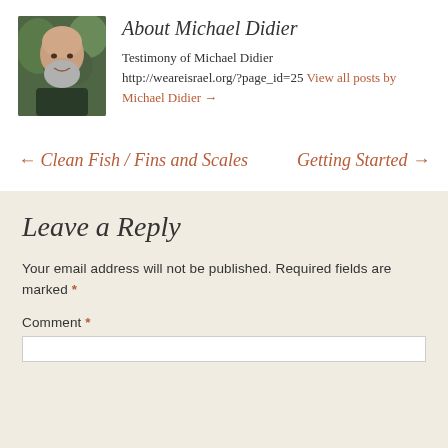[Figure (photo): Headshot photo of Michael Didier, a bald man with a gray beard, smiling, outdoors with green foliage in background]
About Michael Didier
Testimony of Michael Didier
http://weareisrael.org/?page_id=25 View all posts by Michael Didier →
← Clean Fish / Fins and Scales     Getting Started →
Leave a Reply
Your email address will not be published. Required fields are marked *
Comment *